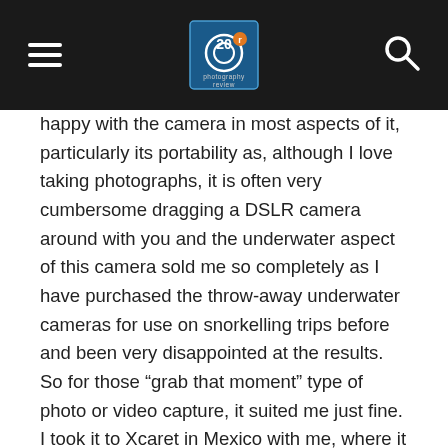Photography Review
happy with the camera in most aspects of it, particularly its portability as, although I love taking photographs, it is often very cumbersome dragging a DSLR camera around with you and the underwater aspect of this camera sold me so completely as I have purchased the throw-away underwater cameras for use on snorkelling trips before and been very disappointed at the results. So for those “grab that moment” type of photo or video capture, it suited me just fine. I took it to Xcaret in Mexico with me, where it went underwater to a depth of no more than possibly 8 or 9 feet and it was fine. It has not been in the water since then – until now. I am in Bonaire and have been on three snorkelling trips already – with everything just perfect. I do not go deep as I am simply a surface snorkeller. I have, however, been changing mode from video to photography in the water – just in case this is proving to be one of the problems. Yesterday morning, on land, my husband wanted to take some photos, which he